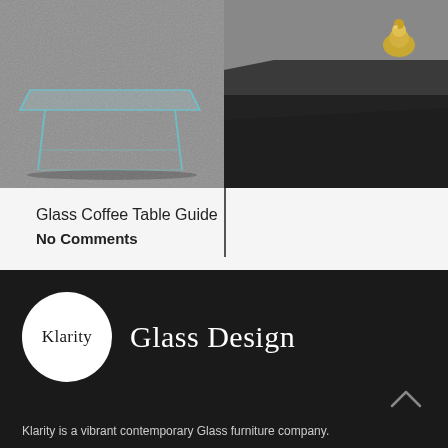[Figure (photo): Two side-by-side photos of glass coffee tables on concrete floor. Left panel shows a transparent glass table with angular glass legs. Right panel shows a dark surface table with a gold decorative object, split between a grey top section and black bottom section.]
Glass Coffee Table Guide
No Comments
[Figure (logo): Klarity logo: white circle with 'Klarity' text in serif font inside, followed by 'Glass Design' in large serif white text on dark background]
Klarity is a vibrant contemporary Glass furniture company.